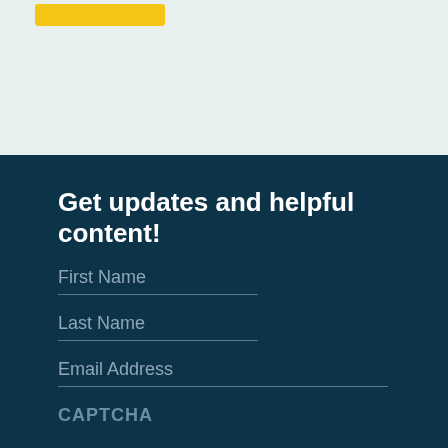[Figure (other): Yellow button/banner at top of light teal background section]
Get updates and helpful content!
First Name
Last Name
Email Address
CAPTCHA